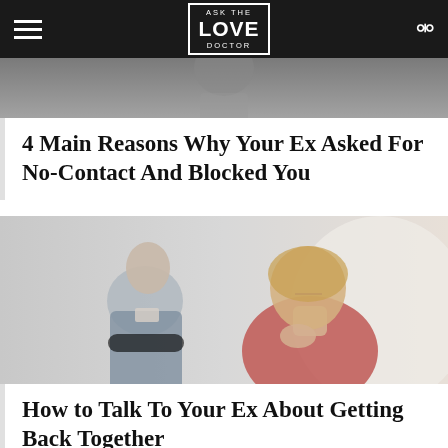ASK THE LOVE DOCTOR
[Figure (photo): Partial view of a person from behind, blurred background, top of page image strip]
4 Main Reasons Why Your Ex Asked For No-Contact And Blocked You
[Figure (photo): A man with his arms crossed looking away and a woman in a red sweater with her chin resting on her hands, looking thoughtful]
How to Talk To Your Ex About Getting Back Together